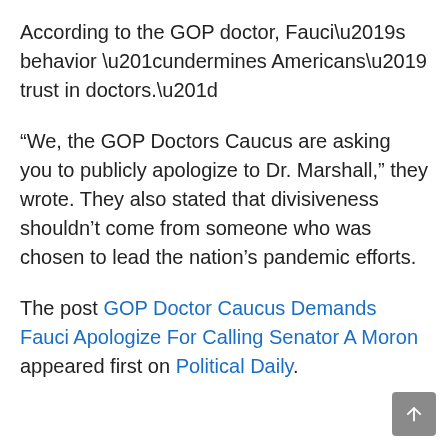According to the GOP doctor, Fauci’s behavior “undermines Americans’ trust in doctors.”
“We, the GOP Doctors Caucus are asking you to publicly apologize to Dr. Marshall,” they wrote. They also stated that divisiveness shouldn’t come from someone who was chosen to lead the nation’s pandemic efforts.
The post GOP Doctor Caucus Demands Fauci Apologize For Calling Senator A Moron appeared first on Political Daily.